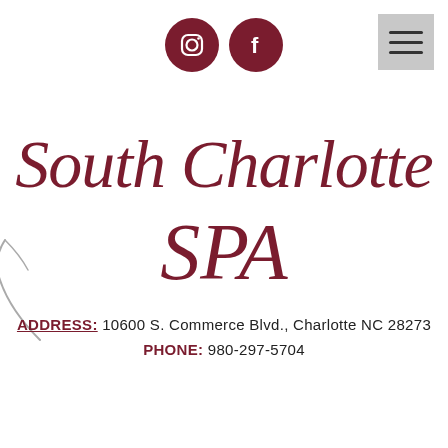[Figure (logo): Two dark red circular social media icons (Instagram and Facebook) centered at top, and a grey hamburger menu icon at top right]
South Charlotte SPA
ADDRESS: 10600 S. Commerce Blvd., Charlotte NC 28273
PHONE: 980-297-5704